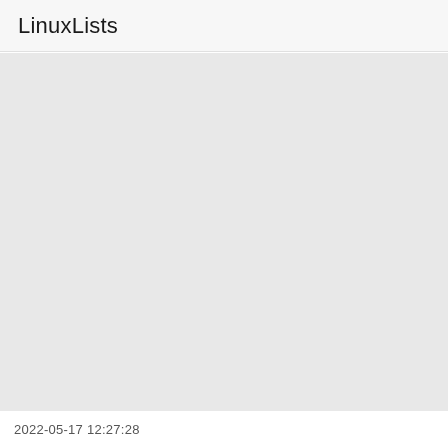LinuxLists
2022-05-17 12:27:28